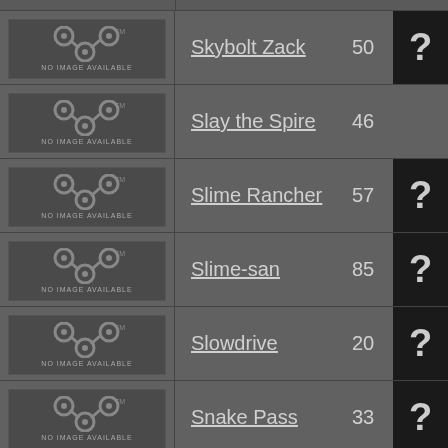| Image | Game | Count | ? |
| --- | --- | --- | --- |
| NO IMAGE AVAILABLE | Skybolt Zack | 50 | ? |
| NO IMAGE AVAILABLE | Slay the Spire | 46 |  |
| NO IMAGE AVAILABLE | Slime Rancher | 57 | ? |
| NO IMAGE AVAILABLE | Slime-san | 85 | ? |
| NO IMAGE AVAILABLE | Slowdrive | 20 | ? |
| NO IMAGE AVAILABLE | Snake Pass | 33 | ? |